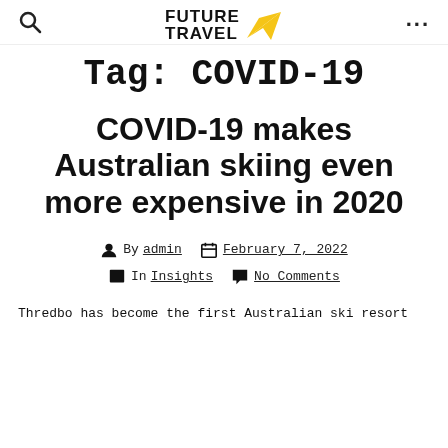FUTURE TRAVEL
Tag: COVID-19
COVID-19 makes Australian skiing even more expensive in 2020
By admin   February 7, 2022
In Insights   No Comments
Thredbo has become the first Australian ski resort